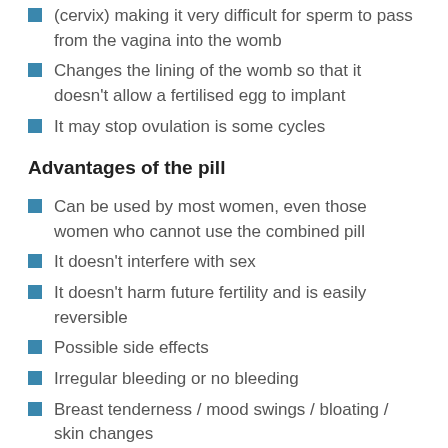(cervix) making it very difficult for sperm to pass from the vagina into the womb
Changes the lining of the womb so that it doesn't allow a fertilised egg to implant
It may stop ovulation is some cycles
Advantages of the pill
Can be used by most women, even those women who cannot use the combined pill
It doesn't interfere with sex
It doesn't harm future fertility and is easily reversible
Possible side effects
Irregular bleeding or no bleeding
Breast tenderness / mood swings / bloating / skin changes